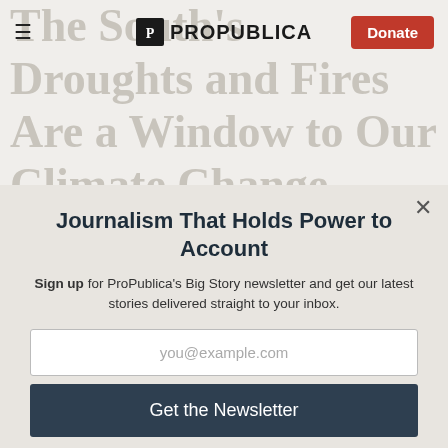The South's Droughts and Fires Are a Window to Our Climate Change Future
Journalism That Holds Power to Account
Sign up for ProPublica's Big Story newsletter and get our latest stories delivered straight to your inbox.
you@example.com
Get the Newsletter
No thanks, I'm all set
This site is protected by reCAPTCHA and the Google Privacy Policy and Terms of Service apply.